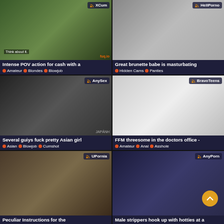[Figure (screenshot): Thumbnail of blonde woman outdoors with site badge XCum]
Intense POV action for cash with a
Amateur  Blondes  Blowjob
[Figure (screenshot): Thumbnail of brunette woman outdoors with site badge HellPorno]
Great brunette babe is masturbating
Hidden Cams  Panties
[Figure (screenshot): Thumbnail of Asian group scene with site badge AnySex]
Several guiys fuck pretty Asian girl
Asian  Blowjob  Cumshot
[Figure (screenshot): Thumbnail of doctor office scene with site badge BravoTeens]
FFM threesome in the doctors office -
Amateur  Anal  Asshole
[Figure (screenshot): Thumbnail of indoor scene with site badge UPornia]
Peculiar Instructions for the
[Figure (screenshot): Thumbnail of nightclub scene with site badge AnyPorn]
Male strippers hook up with hotties at a